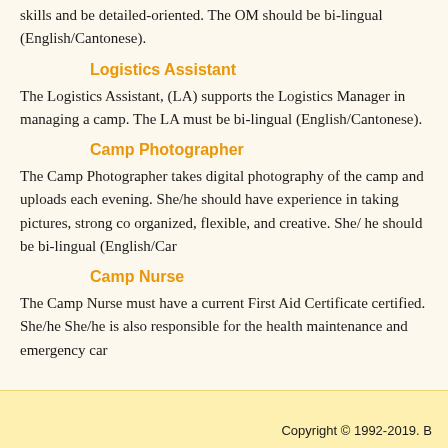skills and be detailed-oriented. The OM should be bi-lingual (English/Cantonese).
Logistics Assistant
The Logistics Assistant, (LA) supports the Logistics Manager in managing a camp. The LA must be bi-lingual (English/Cantonese).
Camp Photographer
The Camp Photographer takes digital photography of the camp and uploads each evening. She/he should have experience in taking pictures, strong co organized, flexible, and creative. She/ he should be bi-lingual (English/Can
Camp Nurse
The Camp Nurse must have a current First Aid Certificate certified. She/he She/he is also responsible for the health maintenance and emergency car
Copyright © 1992-2019. B